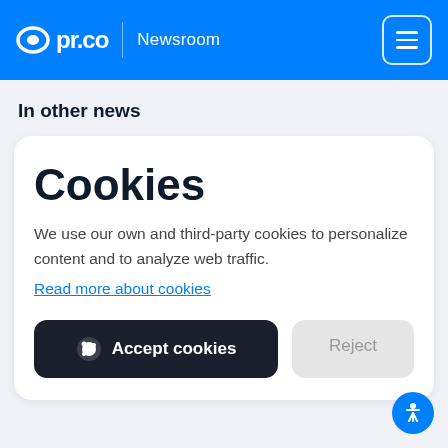pr.co | Newsroom
In other news
Cookies
We use our own and third-party cookies to personalize content and to analyze web traffic.
Read more about cookies
Accept cookies
Reject